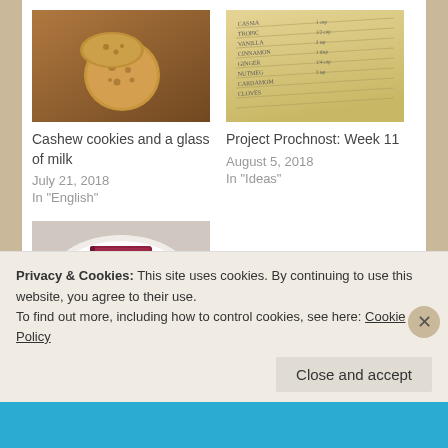[Figure (photo): Photo of cashew cookies stacked on a wooden surface]
Cashew cookies and a glass of milk
July 21, 2018
In "English"
[Figure (photo): Photo of a handwritten notebook/list on lined paper]
Project Prochnost: Week 11
August 5, 2018
In "Ideas"
[Figure (photo): Photo of a decorative red book with floral pattern sitting in a white bowl]
To the land of budding book lovers
Privacy & Cookies: This site uses cookies. By continuing to use this website, you agree to their use.
To find out more, including how to control cookies, see here: Cookie Policy
Close and accept